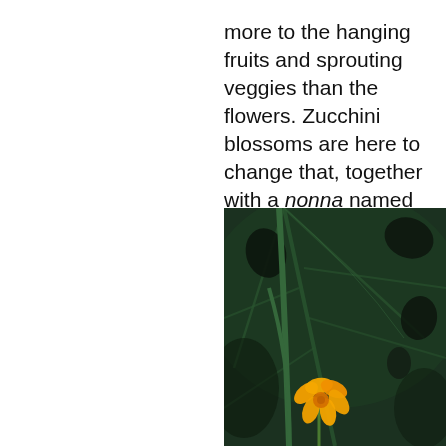more to the hanging fruits and sprouting veggies than the flowers. Zucchini blossoms are here to change that, together with a nonna named Delia.
[Figure (photo): Close-up photograph of large dark green zucchini leaves with holes, and a small bright orange zucchini blossom flower visible in the lower center of the image.]